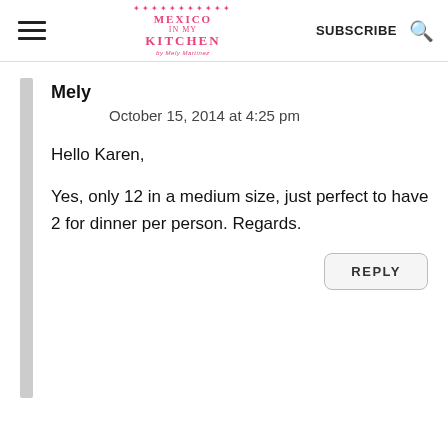Mexico in My Kitchen | SUBSCRIBE
Mely
October 15, 2014 at 4:25 pm
Hello Karen,

Yes, only 12 in a medium size, just perfect to have 2 for dinner per person. Regards.
REPLY